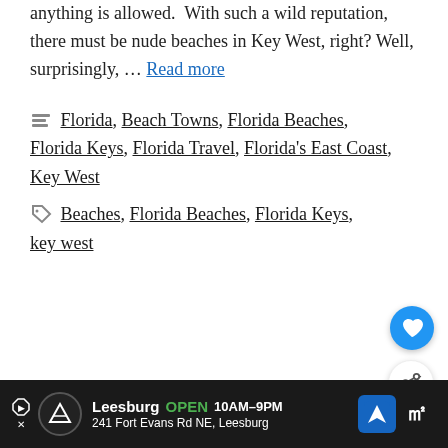Sometimes, it can feel like almost anything is allowed. With such a wild reputation, there must be nude beaches in Key West, right? Well, surprisingly, … Read more
Categories: Florida, Beach Towns, Florida Beaches, Florida Keys, Florida Travel, Florida's East Coast, Key West
Tags: Beaches, Florida Beaches, Florida Keys, key west
WHAT'S NEXT → Beer Can Island (Tamp…
Beer Can Island (Tampa Bay)
Leesburg OPEN 10AM–9PM 241 Fort Evans Rd NE, Leesburg